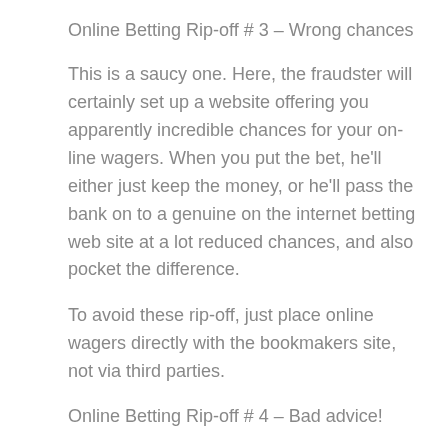Online Betting Rip-off # 3 – Wrong chances
This is a saucy one. Here, the fraudster will certainly set up a website offering you apparently incredible chances for your on-line wagers. When you put the bet, he'll either just keep the money, or he'll pass the bank on to a genuine on the internet betting web site at a lot reduced chances, and also pocket the difference.
To avoid these rip-off, just place online wagers directly with the bookmakers site, not via third parties.
Online Betting Rip-off # 4 – Bad advice!
Finally, the last common risk for brand-new on-line